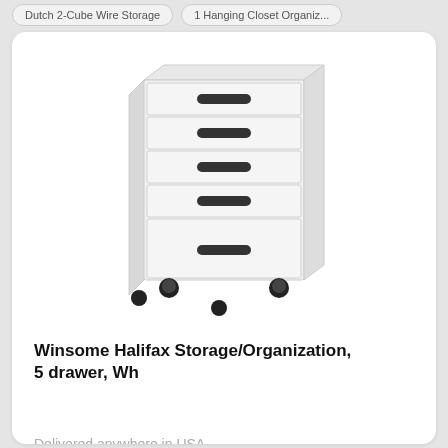Dutch 2-Cube Wire Storage   1 Hanging Closet Organiz...
[Figure (photo): White 5-drawer storage chest on casters/wheels with black handles]
Winsome Halifax Storage/Organization, 5 drawer, Wh
Delivered anywhere in USA
Amazon - Since today
Price: 106 $
Product condition: New